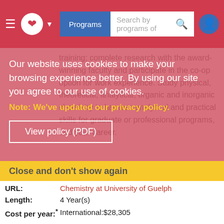Programs | Search by programs of
training; complete research with the award-winning faculty and participate in the co-op option for work experience. Study physical, theoretical, analytical, organic and inorganic chemistry to harness analytical and practical skills for graduate or professional programs, and your career.
Our website uses cookies to make your browsing experience better. By using our site you agree to our use of cookies.
Note: We've updated our privacy policy.
View policy (PDF)
Close and don't show again
URL: Chemistry at University of Guelph
Length: 4 Year(s)
Cost per year:* International:$28,305